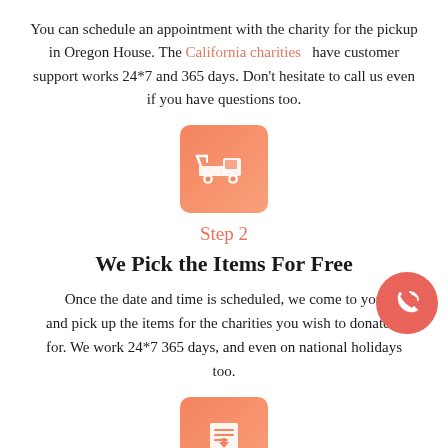You can schedule an appointment with the charity for the pickup in Oregon House. The California charities have customer support works 24*7 and 365 days. Don't hesitate to call us even if you have questions too.
[Figure (illustration): Orange-red gradient square icon with a white tow truck silhouette]
Step 2
We Pick the Items For Free
Once the date and time is scheduled, we come to your and pick up the items for the charities you wish to donate it for. We work 24*7 365 days, and even on national holidays too.
[Figure (illustration): Orange-red gradient square icon with a white document/list download silhouette]
[Figure (illustration): Red circular phone/call button with white phone icon in the bottom-right area]